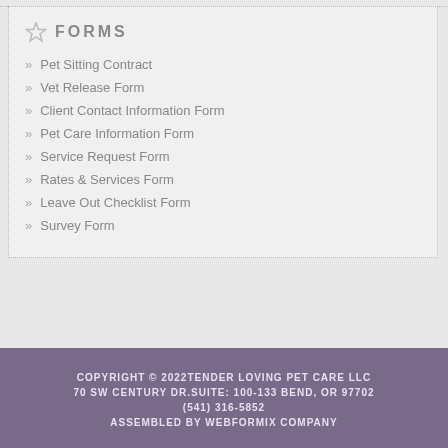FORMS
Pet Sitting Contract
Vet Release Form
Client Contact Information Form
Pet Care Information Form
Service Request Form
Rates & Services Form
Leave Out Checklist Form
Survey Form
COPYRIGHT © 2022TENDER LOVING PET CARE LLC
70 SW CENTURY DR.SUITE: 100-133 BEND, OR 97702
(541) 316-5852
ASSEMBLED BY WEBFORMIX COMPANY